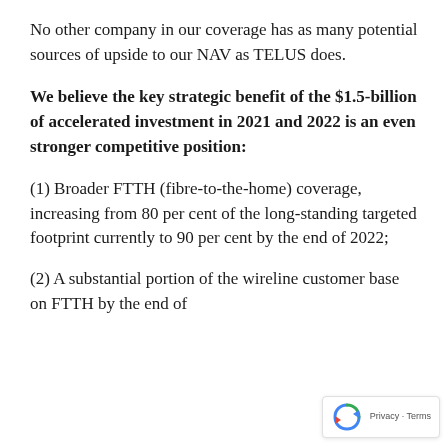No other company in our coverage has as many potential sources of upside to our NAV as TELUS does.
We believe the key strategic benefit of the $1.5-billion of accelerated investment in 2021 and 2022 is an even stronger competitive position:
(1) Broader FTTH (fibre-to-the-home) coverage, increasing from 80 per cent of the long-standing targeted footprint currently to 90 per cent by the end of 2022;
(2) A substantial portion of the wireline customer base on FTTH by the end of